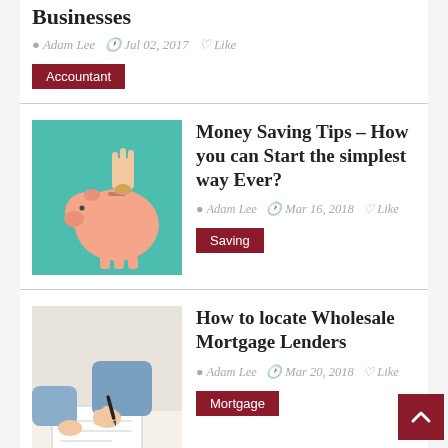Businesses
Adam Lee  Jul 02, 2017  Like
Accountant
Money Saving Tips – How you can Start the simplest way Ever?
[Figure (photo): Hand inserting coin into pink piggy bank on teal background]
Adam Lee  Mar 16, 2018  Like
Saving
How to locate Wholesale Mortgage Lenders
[Figure (photo): Person in blue shirt writing on paper at desk]
Adam Lee  Mar 20, 2018  Like
Mortgage